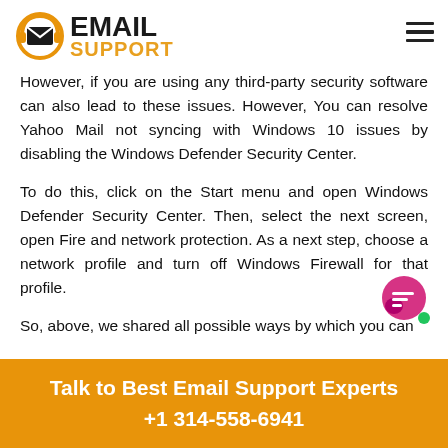EMAIL SUPPORT
However, if you are using any third-party security software can also lead to these issues. However, You can resolve Yahoo Mail not syncing with Windows 10 issues by disabling the Windows Defender Security Center.
To do this, click on the Start menu and open Windows Defender Security Center. Then, select the next screen, open Fire and network protection. As a next step, choose a network profile and turn off Windows Firewall for that profile.
So, above, we shared all possible ways by which you can
Talk to Best Email Support Experts +1 314-558-6941